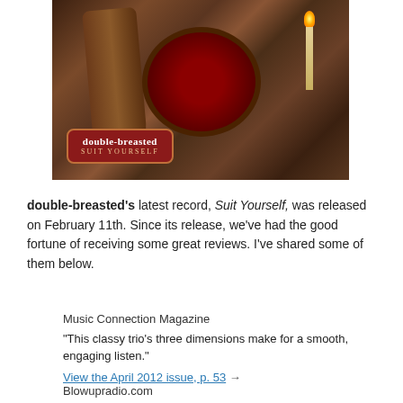[Figure (photo): Album cover photo showing musicians with a large bass drum, double bass, and candles in a dimly lit room. A red badge logo reads 'double-breasted SUIT YOURSELF' in the lower left corner.]
double-breasted's latest record, Suit Yourself, was released on February 11th. Since its release, we've had the good fortune of receiving some great reviews. I've shared some of them below.
Music Connection Magazine
“This classy trio’s three dimensions make for a smooth, engaging listen.”
View the April 2012 issue, p. 53 →
Blowupradio.com
“If I were a rich man, this is the kind of band that I would